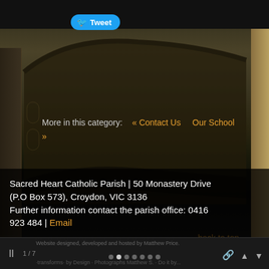[Figure (screenshot): Screenshot of a church/parish website showing a building photo background with navigation links, Twitter button, and footer contact information.]
Tweet
More in this category:   « Contact Us    Our School »
back to top
Sacred Heart Catholic Parish | 50 Monastery Drive (P.O Box 573), Croydon, VIC 3136
Further information contact the parish office: 0416 923 484 | Email
Website designed, developed and hosted by Matthew Price.
1 / 7